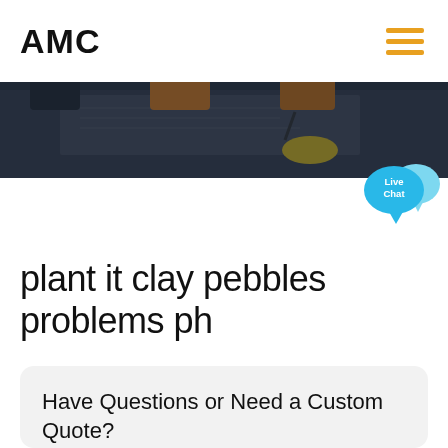AMC
[Figure (photo): Construction workers in orange high-visibility vests reviewing blueprints on a table, dark overlay applied to the image]
[Figure (illustration): Live Chat speech bubble icon in cyan/light blue color with text 'Live Chat']
plant it clay pebbles problems ph
Have Questions or Need a Custom Quote?